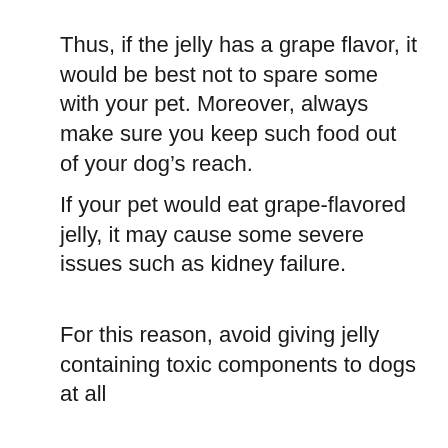Thus, if the jelly has a grape flavor, it would be best not to spare some with your pet. Moreover, always make sure you keep such food out of your dog’s reach.
If your pet would eat grape-flavored jelly, it may cause some severe issues such as kidney failure.
For this reason, avoid giving jelly containing toxic components to dogs at all